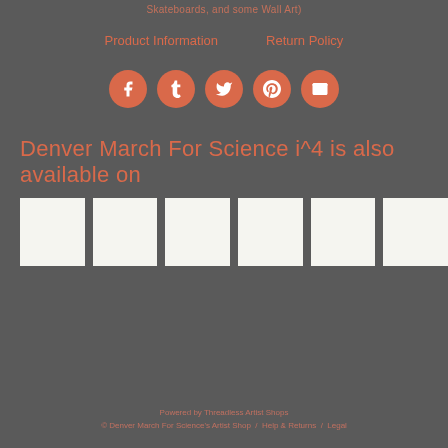Skateboards, and some Wall Art)
Product Information
Return Policy
[Figure (other): Five circular orange social media icons: Facebook, Tumblr, Twitter, Pinterest, Email]
Denver March For Science i^4 is also available on
[Figure (other): Six white product thumbnail images in a row]
Powered by Threadless Artist Shops
© Denver March For Science's Artist Shop  /  Help & Returns  /  Legal